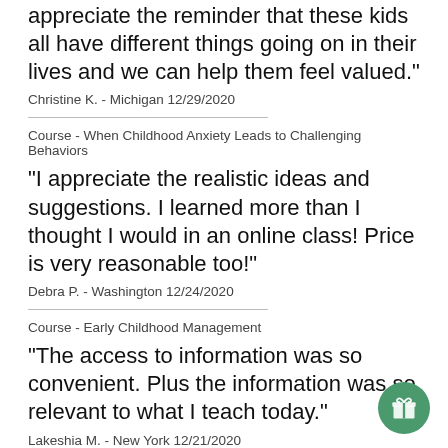appreciate the reminder that these kids all have different things going on in their lives and we can help them feel valued."
Christine K. - Michigan 12/29/2020
Course - When Childhood Anxiety Leads to Challenging Behaviors
"I appreciate the realistic ideas and suggestions. I learned more than I thought I would in an online class! Price is very reasonable too!"
Debra P. - Washington 12/24/2020
Course - Early Childhood Management
"The access to information was so convenient. Plus the information was so relevant to what I teach today."
Lakeshia M. - New York 12/21/2020